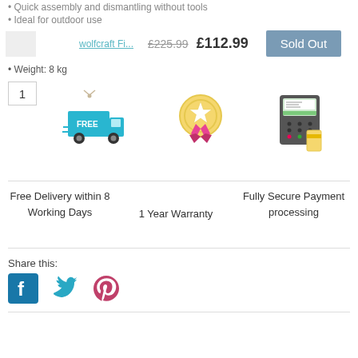Quick assembly and dismantling without tools
Ideal for outdoor use
Weight: 8 kg
wolfcraft Fi...  £225.99  £112.99  Sold Out
[Figure (infographic): Three icons: free delivery truck, quality award medal, payment terminal]
Free Delivery within 8 Working Days
1 Year Warranty
Fully Secure Payment processing
Share this:
[Figure (infographic): Social media icons: Facebook, Twitter, Pinterest]